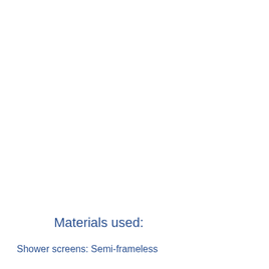Materials used:
Shower screens: Semi-frameless